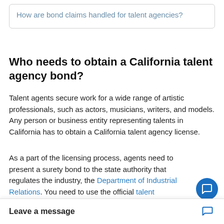How are bond claims handled for talent agencies?
Who needs to obtain a California talent agency bond?
Talent agents secure work for a wide range of artistic professionals, such as actors, musicians, writers, and models. Any person or business entity representing talents in California has to obtain a California talent agency license.
As a part of the licensing process, agents need to present a surety bond to the state authority that regulates the industry, the Department of Industrial Relations. You need to use the official talent agency bond form provided by the Department. The purpose of the bond is to protect your clients from potential unlawful actions that you may commit while representing them. It ensures you will comply with the rules set in Cha...
Leave a message